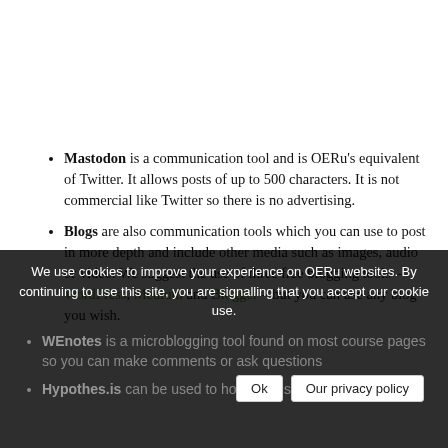Mastodon is a communication tool and is OERu's equivalent of Twitter. It allows posts of up to 500 characters. It is not commercial like Twitter so there is no advertising.
Blogs are also communication tools which you can use to post in more depth and include other media such as images, audio or video. We suggest the use of three free blogging tools – WordPress, Medium and Blogger – but you can use any blog you wish.
We use cookies to improve your experience on OERu websites. By continuing to use this site, you are signalling that you accept our cookie use.
WEnotes is a microblogging tool found on most course pages so you can make comments or ask questions
Hypothes.is can be used to hold discussions, read